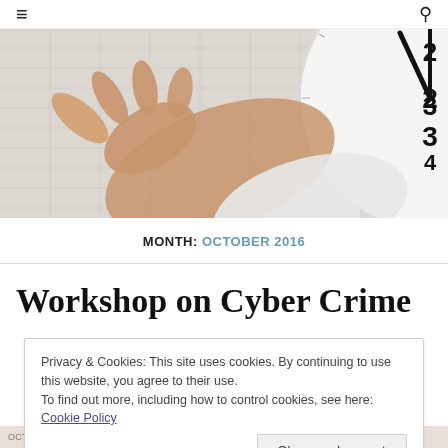≡ [search icon]
[Figure (photo): A hand reaching toward a large analog clock face showing approximately 3:15, with grid paper background]
MONTH: OCTOBER 2016
Workshop on Cyber Crime
Privacy & Cookies: This site uses cookies. By continuing to use this website, you agree to their use. To find out more, including how to control cookies, see here: Cookie Policy
Close and accept